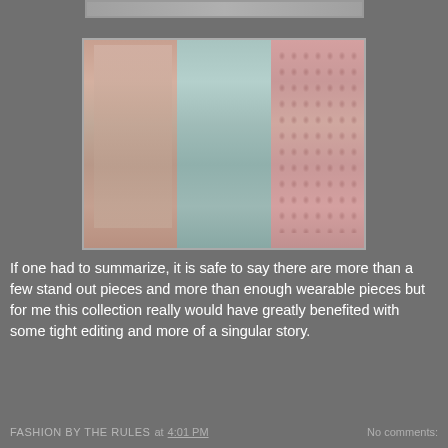[Figure (photo): Partial top of a fashion runway photo strip showing models in designer dresses]
[Figure (photo): Three fashion runway models wearing designer gowns: left model in sheer floral embroidered dress, center model in pale mint/aqua deep-v gown, right model in pink printed dress with dark motifs]
If one had to summarize, it is safe to say there are more than a few stand out pieces and more than enough wearable pieces but for me this collection really would have greatly benefited with some tight editing and more of a singular story.
FASHION BY THE RULES at 4:01 PM   No comments: